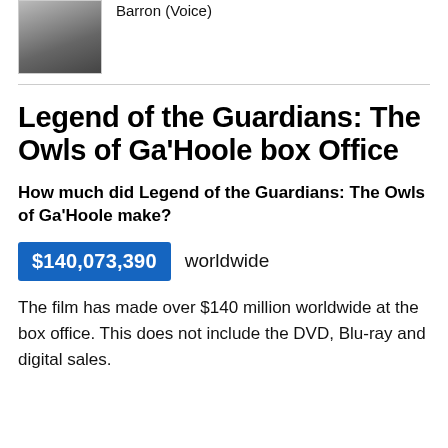[Figure (photo): Headshot photo of a person in a dark jacket]
Barron (Voice)
Legend of the Guardians: The Owls of Ga'Hoole box Office
How much did Legend of the Guardians: The Owls of Ga'Hoole make?
$140,073,390 worldwide
The film has made over $140 million worldwide at the box office. This does not include the DVD, Blu-ray and digital sales.